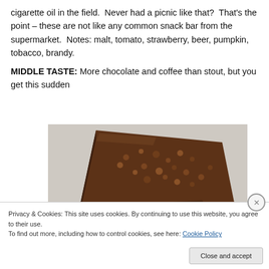cigarette oil in the field.  Never had a picnic like that?  That's the point – these are not like any common snack bar from the supermarket.  Notes: malt, tomato, strawberry, beer, pumpkin, tobacco, brandy.
MIDDLE TASTE: More chocolate and coffee than stout, but you get this sudden
[Figure (photo): Photo of chocolate bars/pieces with a rough, grainy textured surface, stacked on a white/grey background]
Privacy & Cookies: This site uses cookies. By continuing to use this website, you agree to their use.
To find out more, including how to control cookies, see here: Cookie Policy
Close and accept